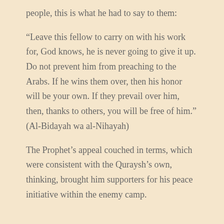people, this is what he had to say to them:
“Leave this fellow to carry on with his work for, God knows, he is never going to give it up. Do not prevent him from preaching to the Arabs. If he wins them over, then his honor will be your own. If they prevail over him, then, thanks to others, you will be free of him.” (Al-Bidayah wa al-Nihayah)
The Prophet’s appeal couched in terms, which were consistent with the Quraysh’s own, thinking, brought him supporters for his peace initiative within the enemy camp.